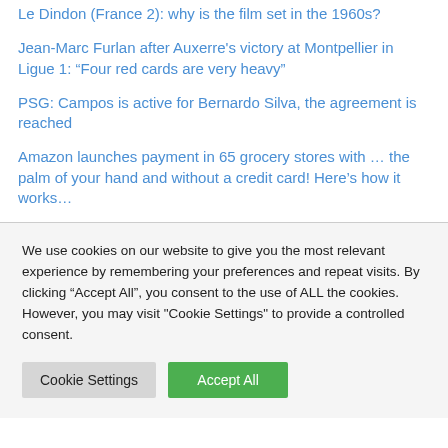Le Dindon (France 2): why is the film set in the 1960s?
Jean-Marc Furlan after Auxerre's victory at Montpellier in Ligue 1: “Four red cards are very heavy”
PSG: Campos is active for Bernardo Silva, the agreement is reached
Amazon launches payment in 65 grocery stores with … the palm of your hand and without a credit card! Here’s how it works…
We use cookies on our website to give you the most relevant experience by remembering your preferences and repeat visits. By clicking “Accept All”, you consent to the use of ALL the cookies. However, you may visit "Cookie Settings" to provide a controlled consent.